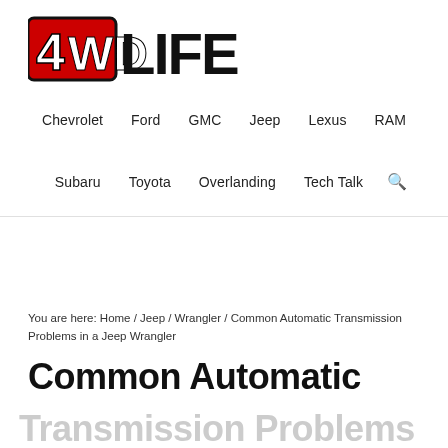[Figure (logo): 4WD LIFE logo with red and black stylized text]
Chevrolet   Ford   GMC   Jeep   Lexus   RAM   Subaru   Toyota   Overlanding   Tech Talk
You are here: Home / Jeep / Wrangler / Common Automatic Transmission Problems in a Jeep Wrangler
Common Automatic Transmission Problems in a Jeep Wrangler